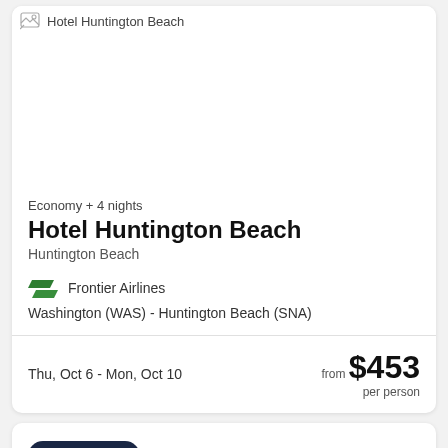[Figure (photo): Hotel Huntington Beach hotel image (broken/loading image placeholder with alt text 'Hotel Huntington Beach')]
Economy + 4 nights
Hotel Huntington Beach
Huntington Beach
[Figure (logo): Frontier Airlines logo - two green/teal parallelogram shapes]
Frontier Airlines
Washington (WAS) - Huntington Beach (SNA)
Thu, Oct 6 - Mon, Oct 10
from $453 per person
VIP Access